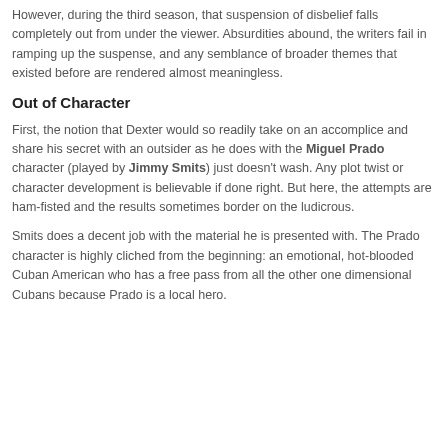However, during the third season, that suspension of disbelief falls completely out from under the viewer. Absurdities abound, the writers fail in ramping up the suspense, and any semblance of broader themes that existed before are rendered almost meaningless.
Out of Character
First, the notion that Dexter would so readily take on an accomplice and share his secret with an outsider as he does with the Miguel Prado character (played by Jimmy Smits) just doesn't wash. Any plot twist or character development is believable if done right. But here, the attempts are ham-fisted and the results sometimes border on the ludicrous.
Smits does a decent job with the material he is presented with. The Prado character is highly cliched from the beginning: an emotional, hot-blooded Cuban American who has a free pass from all the other one dimensional Cubans because Prado is a local hero.